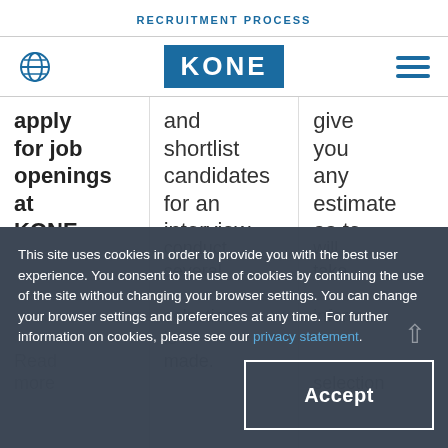RECRUITMENT PROCESS
[Figure (logo): Globe icon, KONE logo, and hamburger menu in navigation bar]
apply for job openings at KONE.
and shortlist candidates for an interview. We may conduct several
give you any estimate as to how long it will
This site uses cookies in order to provide you with the best user experience. You consent to the use of cookies by continuing the use of the site without changing your browser settings. You can change your browser settings and preferences at any time. For further information on cookies, please see our privacy statement.
Accept